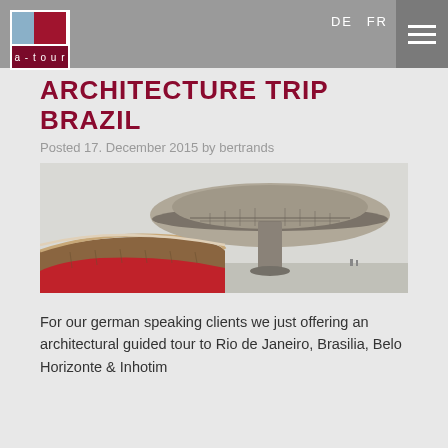a-tour | DE FR
ARCHITECTURE TRIP BRAZIL
Posted 17. December 2015 by bertrands
[Figure (photo): Photo of a modernist curved concrete building with ramp and red floor, likely the Niterói Contemporary Art Museum in Brazil]
For our german speaking clients we just offering an architectural guided tour to Rio de Janeiro, Brasilia, Belo Horizonte & Inhotim